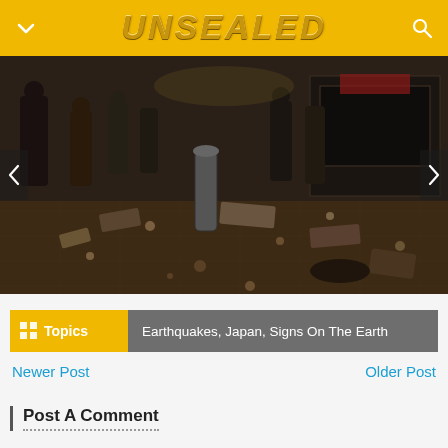UNSEALED
[Figure (photo): Nighttime street scene with debris and rubble scattered on a tiled sidewalk after an earthquake; people visible in background]
Topics  Earthquakes,  Japan,  Signs On The Earth
Newer Post
Older Post
Post A Comment